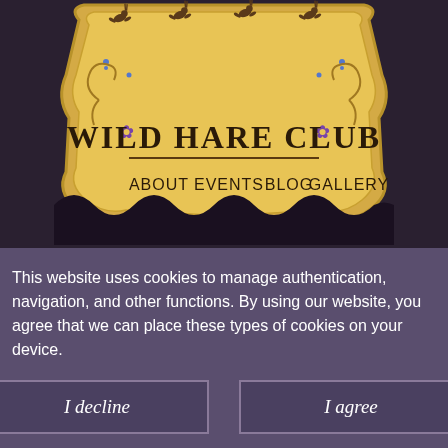[Figure (logo): Wild Hare Club logo — a golden decorative badge with running hare illustrations at the top, ornate scrollwork borders, and the text 'WILD HARE CLUB' in bold serif lettering, with a navigation bar below showing ABOUT, EVENTS, BLOG, GALLERY]
being happy to take a bundle of flyers and posters and distribute them around Hay and beyond. Whenever he did roll up, I knew immediately that the night would be all the better for both his company and an ever-helping hand. One
This website uses cookies to manage authentication, navigation, and other functions. By using our website, you agree that we can place these types of cookies on your device.
I decline
I agree